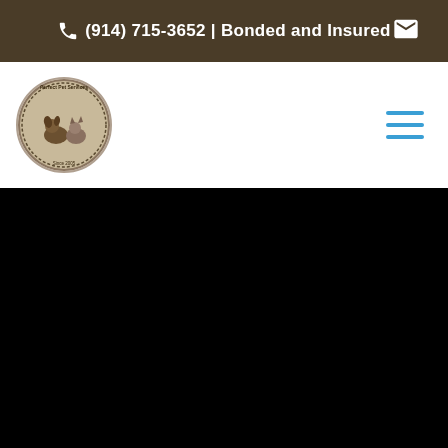(914) 715-3652 | Bonded and Insured
[Figure (logo): Circular logo for a pet services company with animals (dogs/cats) in the center, surrounded by text around the border]
[Figure (photo): Large black image area occupying the bottom portion of the page]